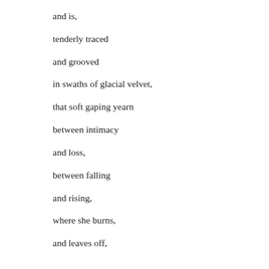and is,
tenderly traced
and grooved
in swaths of glacial velvet,
that soft gaping yearn
between intimacy
and loss,
between falling
and rising,
where she burns,
and leaves off,